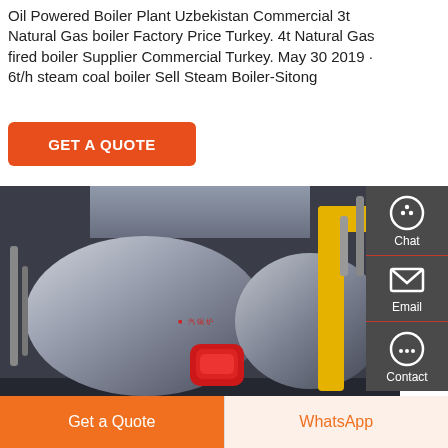Oil Powered Boiler Plant Uzbekistan Commercial 3t Natural Gas boiler Factory Price Turkey. 4t Natural Gas fired boiler Supplier Commercial Turkey. May 30 2019 · 6t/h steam coal boiler Sell Steam Boiler-Sitong
GET A QUOTE
[Figure (photo): Industrial natural gas fired steam boiler in a factory setting. Large cylindrical boiler drums visible, with a yellow gas pipe on the right side and a red burner at the front. Industrial setting with metal ductwork above.]
Chat
Email
Contact
Get a Quote
WhatsApp